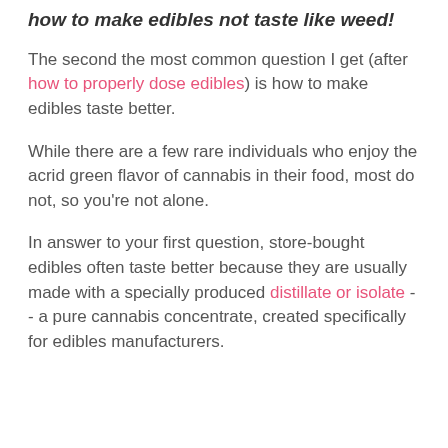how to make edibles not taste like weed!
The second the most common question I get (after how to properly dose edibles) is how to make edibles taste better.
While there are a few rare individuals who enjoy the acrid green flavor of cannabis in their food, most do not, so you're not alone.
In answer to your first question, store-bought edibles often taste better because they are usually made with a specially produced distillate or isolate -- a pure cannabis concentrate, created specifically for edibles manufacturers.